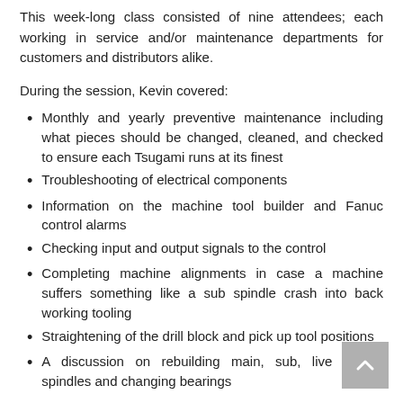This week-long class consisted of nine attendees; each working in service and/or maintenance departments for customers and distributors alike.
During the session, Kevin covered:
Monthly and yearly preventive maintenance including what pieces should be changed, cleaned, and checked to ensure each Tsugami runs at its finest
Troubleshooting of electrical components
Information on the machine tool builder and Fanuc control alarms
Checking input and output signals to the control
Completing machine alignments in case a machine suffers something like a sub spindle crash into back working tooling
Straightening of the drill block and pick up tool positions
A discussion on rebuilding main, sub, live tooling spindles and changing bearings